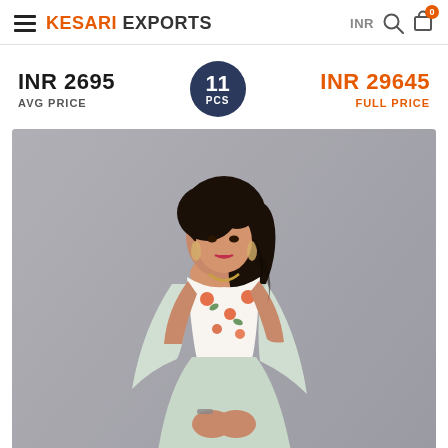KESARI EXPORTS — INR 0 cart
INR 2695 AVG PRICE
11 PCS
INR 29645 FULL PRICE
[Figure (photo): Fashion product photo: a woman wearing a white floral lehenga choli (crop top with colorful floral embroidery and a mint/sage green skirt with dupatta), posed against a grey background. She has dark curly hair and is looking upward.]